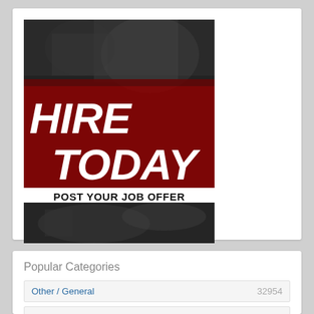[Figure (illustration): Job posting advertisement banner with dark background photo of a person, red overlay with bold white italic text reading HIRE TODAY, and a black and white photo section below]
POST YOUR JOB OFFER
Popular Categories
Other / General  32954
Healthcare  16239